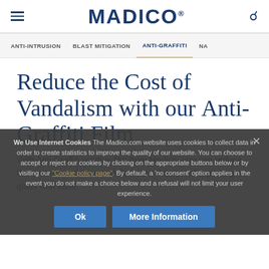MADICO
ANTI-INTRUSION | BLAST MITIGATION | ANTI-GRAFFITI | NA
Reduce the Cost of Vandalism with our Anti-Graffiti Film
We Use Internet Cookies The Madico.com website uses cookies to collect data in order to create statistics to improve the quality of our website. You can choose to accept or reject our cookies by clicking on the appropriate buttons below or by visiting our "Cookie policy page". By default, a 'no consent' option applies in the event you do not make a choice below and a refusal will not limit your user experience.
With Anti-Graffiti window film from Madico, you can reduce the cost of vandalism and decrease the cost of replacing glass with ease.